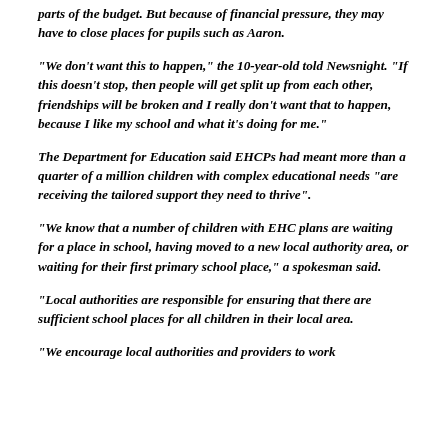parts of the budget. But because of financial pressure, they may have to close places for pupils such as Aaron.
"We don't want this to happen," the 10-year-old told Newsnight. "If this doesn't stop, then people will get split up from each other, friendships will be broken and I really don't want that to happen, because I like my school and what it's doing for me."
The Department for Education said EHCPs had meant more than a quarter of a million children with complex educational needs "are receiving the tailored support they need to thrive".
"We know that a number of children with EHC plans are waiting for a place in school, having moved to a new local authority area, or waiting for their first primary school place," a spokesman said.
"Local authorities are responsible for ensuring that there are sufficient school places for all children in their local area.
"We encourage local authorities and providers to work